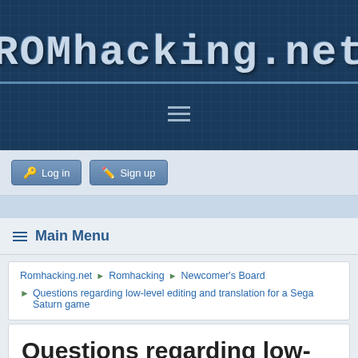[Figure (screenshot): ROMhacking.net website header logo with dark blue background and grid pattern]
ROMhacking.net
Log in  Sign up
Main Menu
Romhacking.net ► Romhacking ► Newcomer's Board ► Questions regarding low-level editing and translation for a Sega Saturn game
Questions regarding low-level editing and translation for a Sega Saturn game